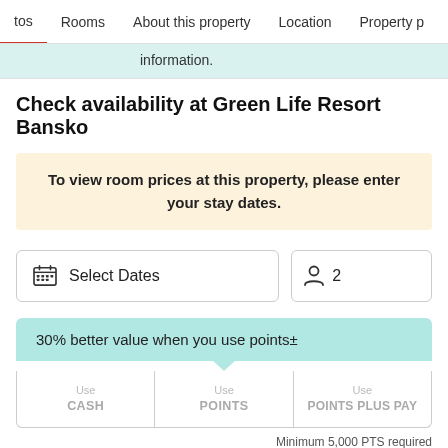tos  Rooms  About this property  Location  Property p
information.
Check availability at Green Life Resort Bansko
To view room prices at this property, please enter your stay dates.
Select Dates  2
30% better value when you use points±
Use CASH  Use POINTS  Use POINTS PLUS PAY
Minimum 5,000 PTS required